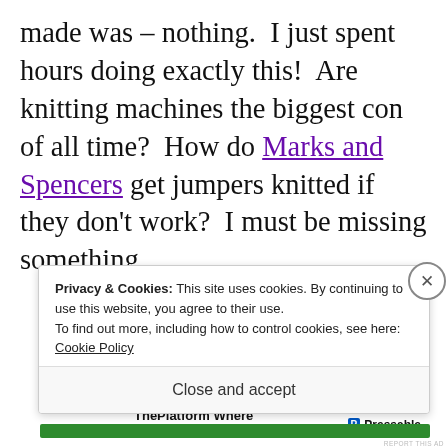made was – nothing. I just spent hours doing exactly this! Are knitting machines the biggest con of all time? How do Marks and Spencers get jumpers knitted if they don't work? I must be missing something.
[Figure (screenshot): Advertisement banner for Pressable: 'ADVERTISEMENTS' label with blue underline, text 'ThePlatform Where WordPress Works Best' in bold with blue and green highlights, Pressable logo on the right, REPORT THIS AD link below]
Privacy & Cookies: This site uses cookies. By continuing to use this website, you agree to their use.
To find out more, including how to control cookies, see here: Cookie Policy
Close and accept